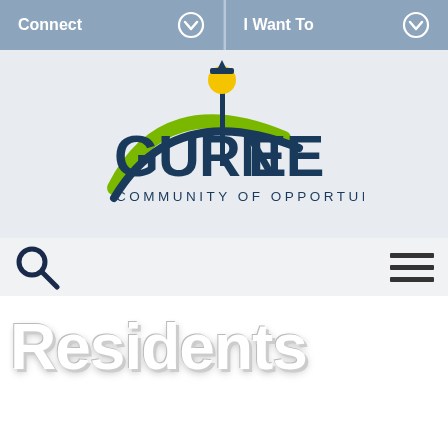Connect | I Want To
[Figure (logo): Gurnee Community of Opportunity municipal logo with lighthouse/lamp post and swooping arc]
[Figure (other): Search icon (magnifying glass) and hamburger menu icon navigation bar]
Residents